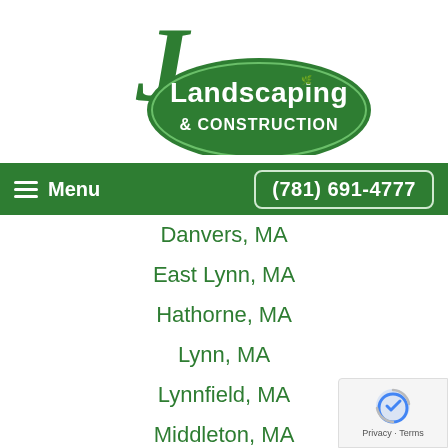[Figure (logo): J Landscaping & Construction logo — green oval with white stylized 'J' and text 'Landscaping & CONSTRUCTION']
≡ Menu   (781) 691-4777
Danvers, MA
East Lynn, MA
Hathorne, MA
Lynn, MA
Lynnfield, MA
Middleton, MA
Peabody, MA
Salem, MA
Swampscott, MA
West Lynn, MA